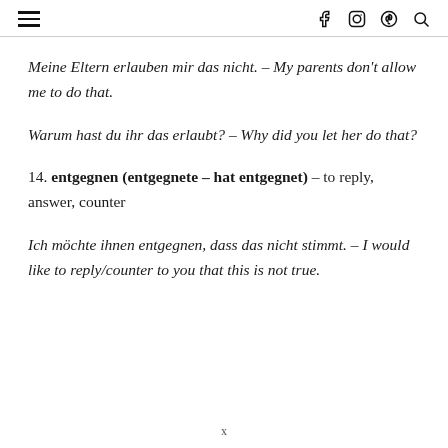≡  f  Instagram  Pinterest  🔍
Meine Eltern erlauben mir das nicht. – My parents don't allow me to do that.
Warum hast du ihr das erlaubt? – Why did you let her do that?
14. entgegnen (entgegnete – hat entgegnet) – to reply, answer, counter
Ich möchte ihnen entgegnen, dass das nicht stimmt. – I would like to reply/counter to you that this is not true.
x